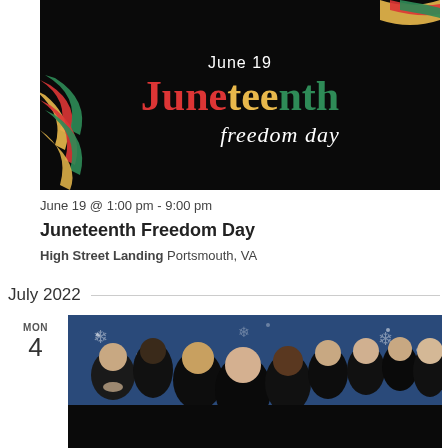[Figure (photo): Juneteenth Freedom Day promotional banner with black background, red/yellow/green ribbon decoration, text reading 'June 19 Juneteenth Freedom day']
June 19 @ 1:00 pm - 9:00 pm
Juneteenth Freedom Day
High Street Landing Portsmouth, VA
July 2022
[Figure (photo): Group photo of approximately 10 men dressed in black clothing, posed in front of a blue backdrop with snowflake decorations]